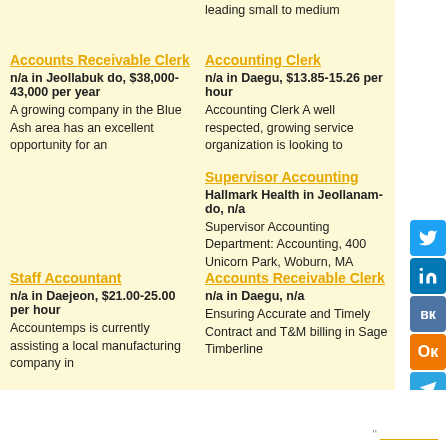leading small to medium
Accounts Receivable Clerk
n/a in Jeollabuk do, $38,000-43,000 per year
A growing company in the Blue Ash area has an excellent opportunity for an
Accounting Clerk
n/a in Daegu, $13.85-15.26 per hour
Accounting Clerk A well respected, growing service organization is looking to
Supervisor Accounting
Hallmark Health in Jeollanam-do, n/a
Supervisor Accounting Department: Accounting, 400 Unicorn Park, Woburn, MA
Staff Accountant
n/a in Daejeon, $21.00-25.00 per hour
Accountemps is currently assisting a local manufacturing company in
Accounts Receivable Clerk
n/a in Daegu, n/a
Ensuring Accurate and Timely Contract and T&M billing in Sage Timberline